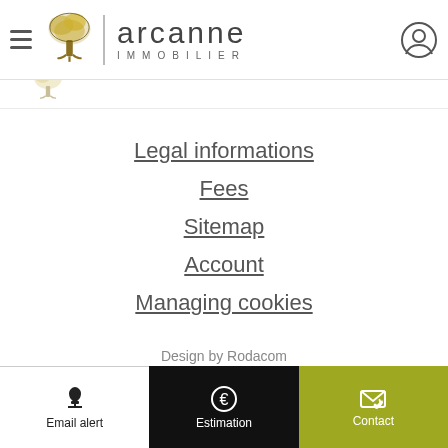arcanne IMMOBILIER
Legal informations
Fees
Sitemap
Account
Managing cookies
Design by Rodacom
Email alert  Estimation  Contact